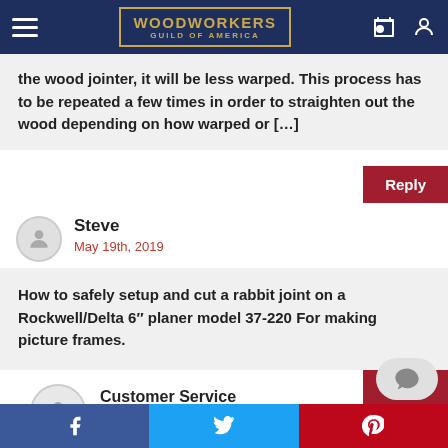[Figure (screenshot): Woodworkers Guild of America website navigation bar with logo, hamburger menu, shopping bag and user icons]
the wood jointer, it will be less warped. This process has to be repeated a few times in order to straighten out the wood depending on how warped or […]
Reply
Steve
May 19th, 2019
How to safely setup and cut a rabbit joint on a Rockwell/Delta 6″ planer model 37-220 For making picture frames.
Reply
Customer Service
May 22nd, 2019
[Figure (screenshot): Social media share bar with Facebook, Twitter, and Pinterest buttons at the bottom]